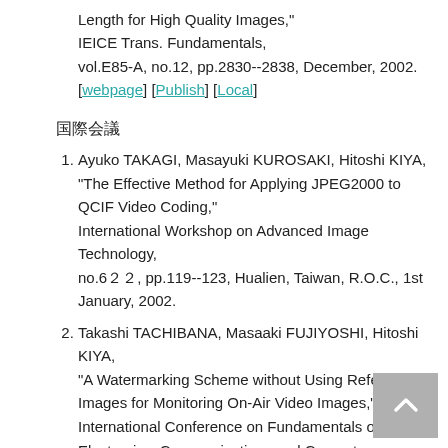Length for High Quality Images," IEICE Trans. Fundamentals, vol.E85-A, no.12, pp.2830--2838, December, 2002. [webpage] [Publish] [Local]
国際会議
1. Ayuko TAKAGI, Masayuki KUROSAKI, Hitoshi KIYA, "The Effective Method for Applying JPEG2000 to QCIF Video Coding," International Workshop on Advanced Image Technology, no.6２２, pp.119--123, Hualien, Taiwan, R.O.C., 1st January, 2002.
2. Takashi TACHIBANA, Masaaki FUJIYOSHI, Hitoshi KIYA, "A Watermarking Scheme without Using Reference Images for Monitoring On-Air Video Images," International Conference on Fundamentals of Electronics, Communications and Computer Sciences, no.SS2-2, pp.6--11, Tokyo, Japan, 1st March, 2002.
3. Ayuko TAKAGI, Hitoshi KIYA, "Interleaved Multiple Image Coding Using JPEG2000," International Technical Conference on Circuits/Systems,